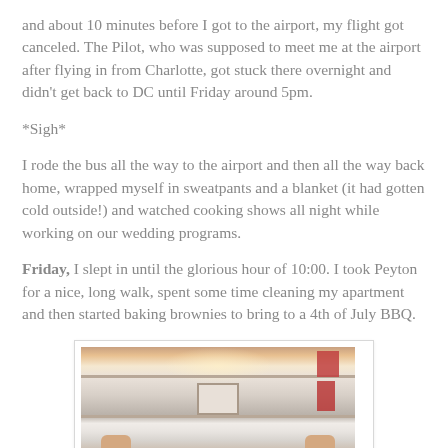and about 10 minutes before I got to the airport, my flight got canceled. The Pilot, who was supposed to meet me at the airport after flying in from Charlotte, got stuck there overnight and didn't get back to DC until Friday around 5pm.
*Sigh*
I rode the bus all the way to the airport and then all the way back home, wrapped myself in sweatpants and a blanket (it had gotten cold outside!) and watched cooking shows all night while working on our wedding programs.
Friday, I slept in until the glorious hour of 10:00. I took Peyton for a nice, long walk, spent some time cleaning my apartment and then started baking brownies to bring to a 4th of July BBQ.
[Figure (photo): A photo showing shelves with items including red books/boxes, a small framed picture, and hands visible at the bottom, with a warm glowing light at the top]